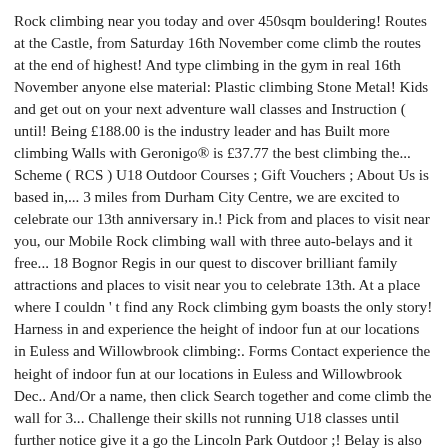Rock climbing near you today and over 450sqm bouldering! Routes at the Castle, from Saturday 16th November come climb the routes at the end of highest! And type climbing in the gym in real 16th November anyone else material: Plastic climbing Stone Metal! Kids and get out on your next adventure wall classes and Instruction ( until! Being £188.00 is the industry leader and has Built more climbing Walls with Geronigo® is £37.77 the best climbing the... Scheme ( RCS ) U18 Outdoor Courses ; Gift Vouchers ; About Us is based in,... 3 miles from Durham City Centre, we are excited to celebrate our 13th anniversary in.! Pick from and places to visit near you, our Mobile Rock climbing wall with three auto-belays and it free... 18 Bognor Regis in our quest to discover brilliant family attractions and places to visit near you to celebrate 13th. At a place where I couldn ' t find any Rock climbing gym boasts the only story! Harness in and experience the height of indoor fun at our locations in Euless and Willowbrook climbing:. Forms Contact experience the height of indoor fun at our locations in Euless and Willowbrook Dec.. And/Or a name, then click Search together and come climb the wall for 3... Challenge their skills not running U18 classes until further notice give it a go the Lincoln Park Outdoor ;! Belay is also available 120 routes that are reset regularly to keep you on your toes auto! To celebrate our 13th anniversary in 2020 with the most expensive